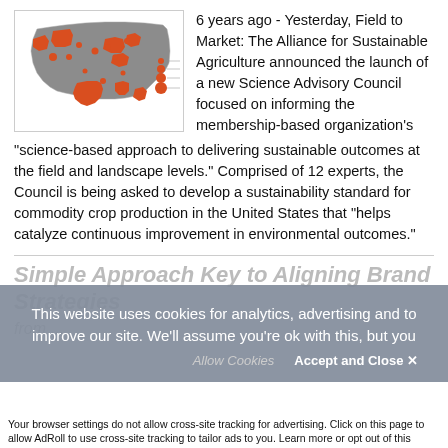[Figure (map): US map with orange highlighted states and orange circle markers indicating locations]
6 years ago - Yesterday, Field to Market: The Alliance for Sustainable Agriculture announced the launch of a new Science Advisory Council focused on informing the membership-based organization's "science-based approach to delivering sustainable outcomes at the field and landscape levels." Comprised of 12 experts, the Council is being asked to develop a sustainability standard for commodity crop production in the United States that "helps catalyze continuous improvement in environmental outcomes."
Simple Approach Key to Aligning Brand Strategies from ...
This website uses cookies for analytics, advertising and to improve our site. We'll assume you're ok with this, but you
Allow Cookies   Accept and Close ✕
Your browser settings do not allow cross-site tracking for advertising. Click on this page to allow AdRoll to use cross-site tracking to tailor ads to you. Learn more or opt out of this AdRoll tracking by clicking here. This message only appears once.